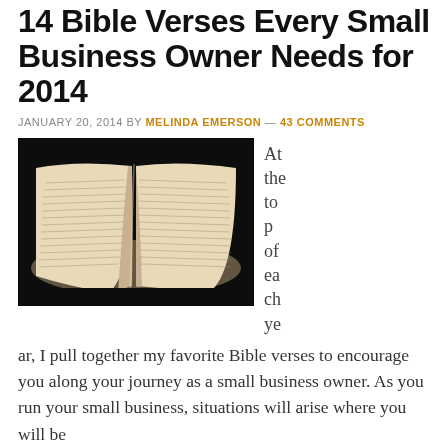14 Bible Verses Every Small Business Owner Needs for 2014
JANUARY 20, 2014 BY MELINDA EMERSON — 43 COMMENTS
[Figure (photo): Open Bible with pages spread, photographed on a dark black background, showing two open pages of scripture text.]
At the top of each year, I pull together my favorite Bible verses to encourage you along your journey as a small business owner. As you run your small business, situations will arise where you will be